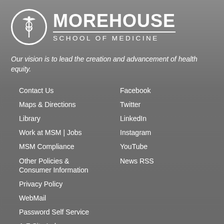[Figure (logo): Morehouse School of Medicine logo with caduceus symbol in circle and text 'MOREHOUSE SCHOOL OF MEDICINE']
Our vision is to lead the creation and advancement of health equity.
Contact Us
Maps & Directions
Library
Work at MSM | Jobs
MSM Compliance
Other Policies & Consumer Information
Privacy Policy
WebMail
Password Self Service
A-Z Site Index
Facebook
Twitter
LinkedIn
Instagram
YouTube
News RSS
Morehouse School of Medicine